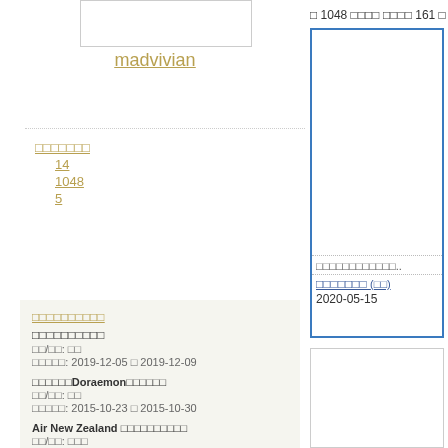[Figure (other): Avatar/profile image placeholder box]
madvivian
□□□□□□□
14
1048
5
□□□□□□□□□□
□□/□□: □□
□□□□□: 2019-12-05 □ 2019-12-09
□□□□□□Doraemon□□□□□□
□□/□□: □□
□□□□□: 2015-10-23 □ 2015-10-30
Air New Zealand □□□□□□□□□□
□□/□□: □□□
□□□□□: 2014-03-28 □ 2014-04-08
□□□□□□□□□□
□ 1048 □□□□ □□□□ 161 □ 180 □
[Figure (other): Content card with blue border, image placeholder and text]
□□□□□□□□□□□□..
□□□□□□□ (□□)
2020-05-15
[Figure (other): Plain content card placeholder]